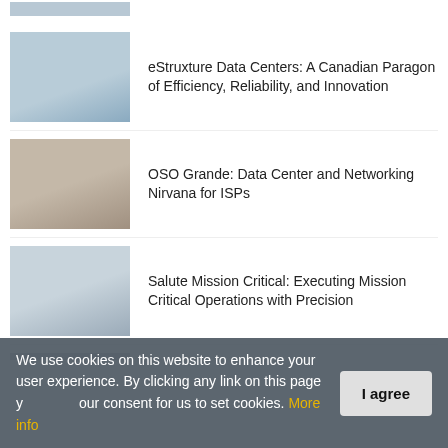[Figure (photo): Partial photo thumbnail at top of page (cropped)]
eStruxture Data Centers: A Canadian Paragon of Efficiency, Reliability, and Innovation
OSO Grande: Data Center and Networking Nirvana for ISPs
Salute Mission Critical: Executing Mission Critical Operations with Precision
vXchnge: Reinventing Colocation
EDITOR'S PICK
Unlocking the Value of Connected Cars
By Elliot Carbun, VP IoT Solutions Group & GM
We use cookies on this website to enhance your user experience. By clicking any link on this page you give your consent for us to set cookies. More info